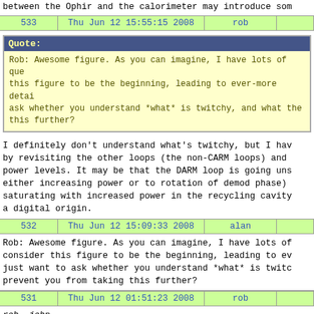between the Ophir and the calorimeter may introduce som
| 533 | Thu Jun 12 15:55:15 2008 | rob |  |
| --- | --- | --- | --- |
Quote:
Rob: Awesome figure. As you can imagine, I have lots of que this figure to be the beginning, leading to ever-more detai ask whether you understand *what* is twitchy, and what the this further?
I definitely don't understand what's twitchy, but I hav by revisiting the other loops (the non-CARM loops) and power levels. It may be that the DARM loop is going uns either increasing power or to rotation of demod phase) saturating with increased power in the recycling cavity a digital origin.
| 532 | Thu Jun 12 15:09:33 2008 | alan |  |
| --- | --- | --- | --- |
Rob: Awesome figure. As you can imagine, I have lots of consider this figure to be the beginning, leading to ev just want to ask whether you understand *what* is twitc prevent you from taking this further?
| 531 | Thu Jun 12 01:51:23 2008 | rob |  |
| --- | --- | --- | --- |
rob, john

We've been working (nights) on getting the IFO locked t incremental progress each night, and tonight we generat